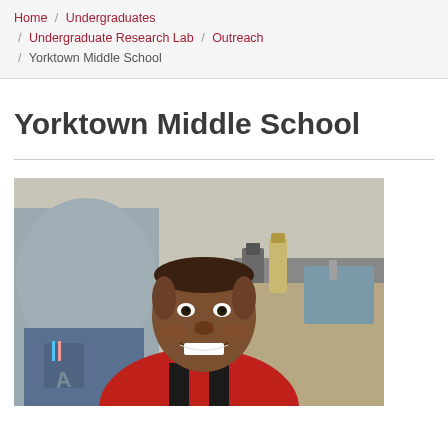Home / Undergraduates / Undergraduate Research Lab / Outreach / Yorktown Middle School
Yorktown Middle School
[Figure (photo): A smiling young boy wearing a red jacket in a classroom or lab setting. In the background there is a person in a grey top and jeans, and lab/sink area with a water bottle and other items on the counter.]